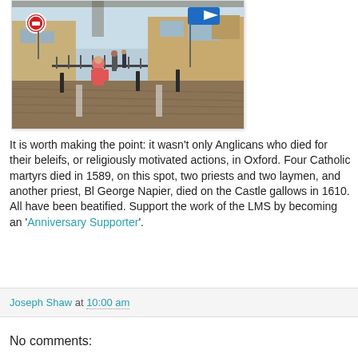[Figure (photo): Street scene in Oxford showing pedestrians on a cobblestone pedestrian area, with historic stone buildings, road signs including a no motor vehicles sign and a blue directional arrow sign, bollards, and metal railings. A person in a pink jacket is visible in the foreground.]
It is worth making the point: it wasn't only Anglicans who died for their beleifs, or religiously motivated actions, in Oxford. Four Catholic martyrs died in 1589, on this spot, two priests and two laymen, and another priest, Bl George Napier, died on the Castle gallows in 1610. All have been beatified. Support the work of the LMS by becoming an 'Anniversary Supporter'.
Joseph Shaw at 10:00 am
No comments: